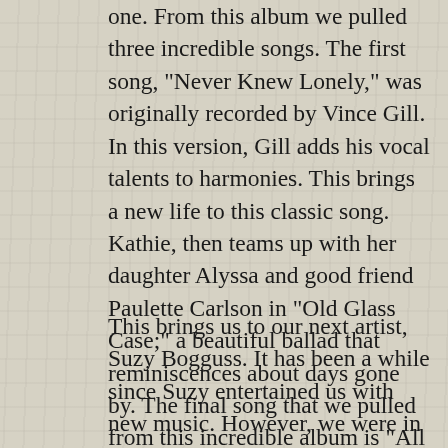one. From this album we pulled three incredible songs. The first song, "Never Knew Lonely," was originally recorded by Vince Gill. In this version, Gill adds his vocal talents to harmonies. This brings a new life to this classic song. Kathie, then teams up with her daughter Alyssa and good friend Paulette Carlson in "Old Glass Case;" a beautiful ballad that reminiscences about days gone by. The final song that we pulled from this incredible album is "All Fall Down" with Tony Kerr. Written by Kerr and Greg Trooper, the song is a wonderful song about life. What makes this song so special is the power of the instruments that were used.
This brings us to our next artist, Suzy Bogguss. It has been a while since Suzy entertained us with new music. However, we were in for a treat when she released her new album Sweet Danger this past year. The album consisted of